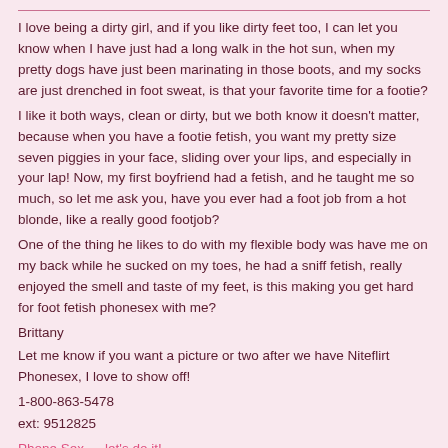I love being a dirty girl, and if you like dirty feet too, I can let you know when I have just had a long walk in the hot sun, when my pretty dogs have just been marinating in those boots, and my socks are just drenched in foot sweat, is that your favorite time for a footie?
I like it both ways, clean or dirty, but we both know it doesn't matter, because when you have a footie fetish, you want my pretty size seven piggies in your face, sliding over your lips, and especially in your lap! Now, my first boyfriend had a fetish, and he taught me so much, so let me ask you, have you ever had a foot job from a hot blonde, like a really good footjob?
One of the thing he likes to do with my flexible body was have me on my back while he sucked on my toes, he had a sniff fetish, really enjoyed the smell and taste of my feet, is this making you get hard for foot fetish phonesex with me?
Brittany
Let me know if you want a picture or two after we have Niteflirt Phonesex, I love to show off!
1-800-863-5478
ext: 9512825
Phone Sex — let's do it!
This entry was posted on April 6, 2019, in Foot Fetish Phonesex and tagged